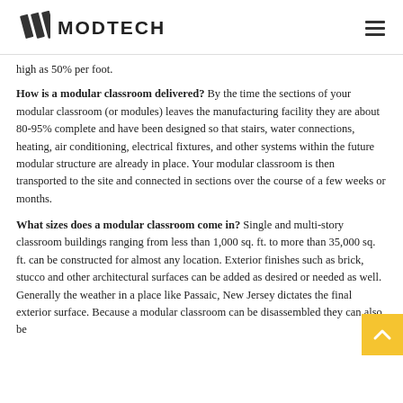MODTECH
high as 50% per foot.
How is a modular classroom delivered? By the time the sections of your modular classroom (or modules) leaves the manufacturing facility they are about 80-95% complete and have been designed so that stairs, water connections, heating, air conditioning, electrical fixtures, and other systems within the future modular structure are already in place. Your modular classroom is then transported to the site and connected in sections over the course of a few weeks or months.
What sizes does a modular classroom come in? Single and multi-story classroom buildings ranging from less than 1,000 sq. ft. to more than 35,000 sq. ft. can be constructed for almost any location. Exterior finishes such as brick, stucco and other architectural surfaces can be added as desired or needed as well. Generally the weather in a place like Passaic, New Jersey dictates the final exterior surface. Because a modular classroom can be disassembled they can also be